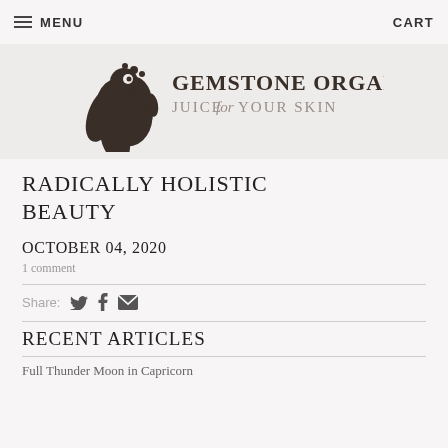MENU   CART
[Figure (logo): Gemstone Organic logo with decorative bird/floral illustration and text: GEMSTONE ORGANIC JUICE for YOUR SKIN]
RADICALLY HOLISTIC BEAUTY
OCTOBER 04, 2020
1 comment
Share: [Twitter] [Facebook] [Email]
RECENT ARTICLES
Full Thunder Moon in Capricorn